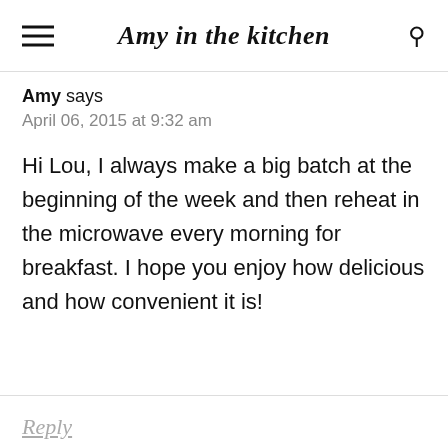Amy in the kitchen
Amy says
April 06, 2015 at 9:32 am
Hi Lou, I always make a big batch at the beginning of the week and then reheat in the microwave every morning for breakfast. I hope you enjoy how delicious and how convenient it is!
Reply